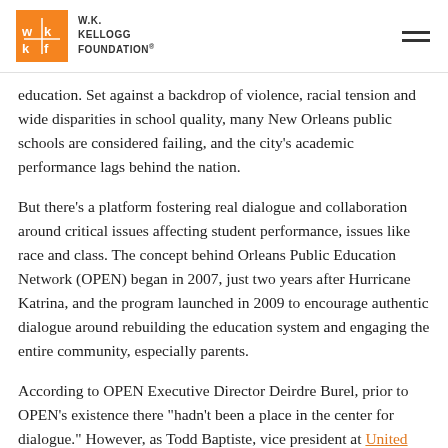W.K. KELLOGG FOUNDATION
education. Set against a backdrop of violence, racial tension and wide disparities in school quality, many New Orleans public schools are considered failing, and the city’s academic performance lags behind the nation.
But there’s a platform fostering real dialogue and collaboration around critical issues affecting student performance, issues like race and class. The concept behind Orleans Public Education Network (OPEN) began in 2007, just two years after Hurricane Katrina, and the program launched in 2009 to encourage authentic dialogue around rebuilding the education system and engaging the entire community, especially parents.
According to OPEN Executive Director Deirdre Burel, prior to OPEN’s existence there “had’t been a place in the center for dialogue.” However, as Todd Baptiste, vice president at United Way of Southeast Louisiana points out, “Collaboration in itself is difficult, but because of the conditions in New Orleans, it’s even more so.”